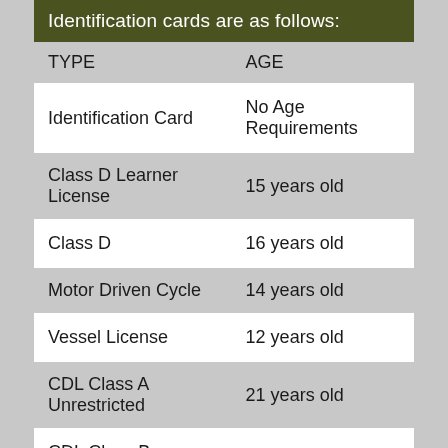| TYPE | AGE |
| --- | --- |
| Identification Card | No Age Requirements |
| Class D Learner License | 15 years old |
| Class D | 16 years old |
| Motor Driven Cycle | 14 years old |
| Vessel License | 12 years old |
| CDL Class A Unrestricted | 21 years old |
| CDL Class B Unrestricted | 21 years old |